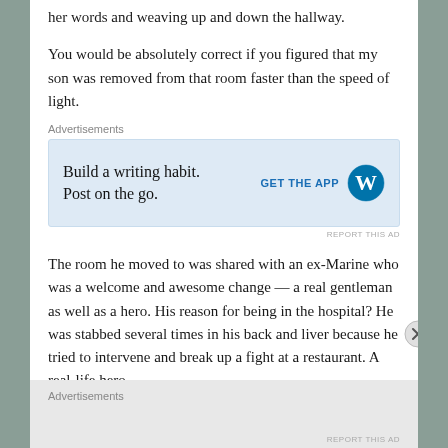her words and weaving up and down the hallway.
You would be absolutely correct if you figured that my son was removed from that room faster than the speed of light.
[Figure (other): Advertisement banner: 'Build a writing habit. Post on the go.' with WordPress logo and 'GET THE APP' call to action button]
The room he moved to was shared with an ex-Marine who was a welcome and awesome change — a real gentleman as well as a hero. His reason for being in the hospital? He was stabbed several times in his back and liver because he tried to intervene and break up a fight at a restaurant. A real-life hero.
Advertisements
REPORT THIS AD